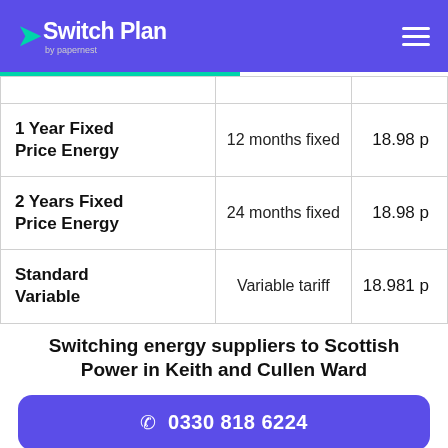Switch Plan by papernest
|  |  |  |
| --- | --- | --- |
| 1 Year Fixed Price Energy | 12 months fixed | 18.98 p |
| 2 Years Fixed Price Energy | 24 months fixed | 18.98 p |
| Standard Variable | Variable tariff | 18.981 p |
Switching energy suppliers to Scottish Power in Keith and Cullen Ward
☎ 0330 818 6224
the right energy supplier that fits your needs, your priorities and what's best for your current...